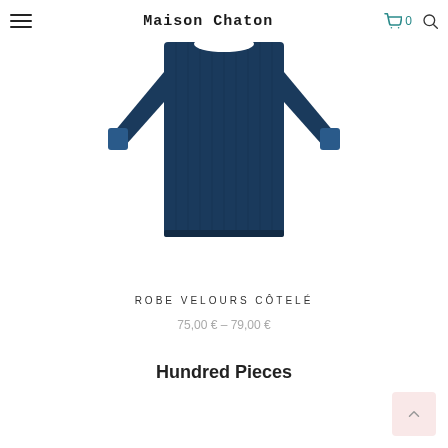Maison Chaton
[Figure (photo): Dark navy blue ribbed velour dress with long sleeves and contrast cuffs, shown flat on white background]
ROBE VELOURS CÔTELÉ
75,00 € – 79,00 €
Hundred Pieces